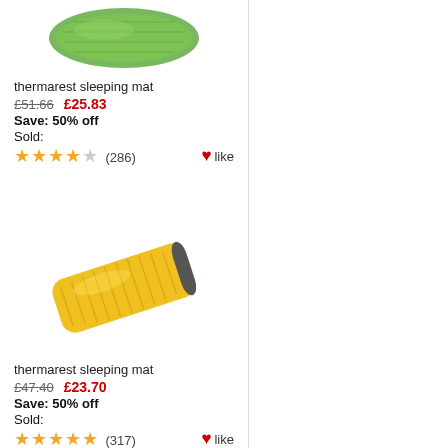[Figure (photo): Green thermarest sleeping mat product image (top portion visible)]
thermarest sleeping mat
£51.66  £25.83
Save: 50% off
Sold:
★★★★☆ (286)  ♥like
[Figure (photo): Yellow thermarest sleeping mat product image]
thermarest sleeping mat
£47.40  £23.70
Save: 50% off
Sold:
★★★★★ (317)  ♥like